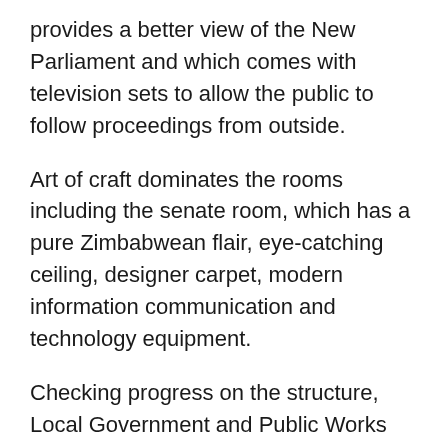provides a better view of the New Parliament and which comes with television sets to allow the public to follow proceedings from outside.
Art of craft dominates the rooms including the senate room, which has a pure Zimbabwean flair, eye-catching ceiling, designer carpet, modern information communication and technology equipment.
Checking progress on the structure, Local Government and Public Works Permanent Secretary, Mr. Zvinechimwe Churu, said the 32-month project was supposed to be finished in July last year but was extended by eight months due to the Covid-19 pandemic.